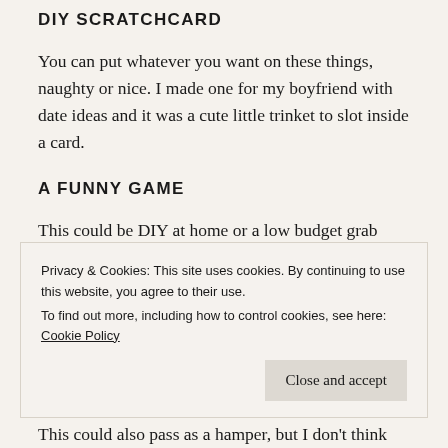DIY SCRATCHCARD
You can put whatever you want on these things, naughty or nice. I made one for my boyfriend with date ideas and it was a cute little trinket to slot inside a card.
A FUNNY GAME
This could be DIY at home or a low budget grab from a local shop – it's all about how you make it. I've
Privacy & Cookies: This site uses cookies. By continuing to use this website, you agree to their use.
To find out more, including how to control cookies, see here: Cookie Policy
This could also pass as a hamper, but I don't think